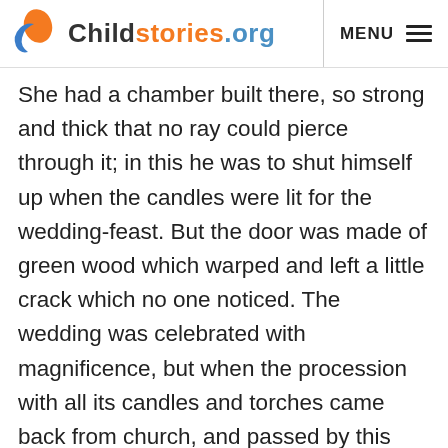Childstories.org   MENU
She had a chamber built there, so strong and thick that no ray could pierce through it; in this he was to shut himself up when the candles were lit for the wedding-feast. But the door was made of green wood which warped and left a little crack which no one noticed. The wedding was celebrated with magnificence, but when the procession with all its candles and torches came back from church, and passed by this apartment, a ray about the bredth of a hair fell on the King's son, and when this ray touched him, he was transformed in an instant, and when she came